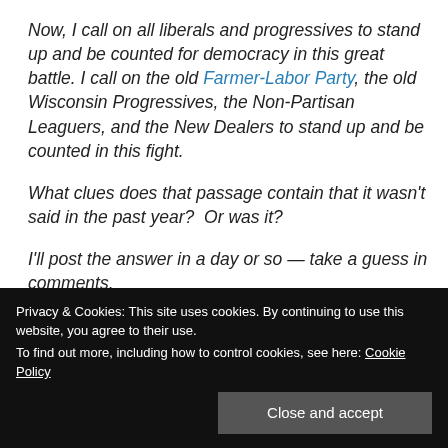Now, I call on all liberals and progressives to stand up and be counted for democracy in this great battle. I call on the old Farmer-Labor Party, the old Wisconsin Progressives, the Non-Partisan Leaguers, and the New Dealers to stand up and be counted in this fight.
What clues does that passage contain that it wasn't said in the past year?  Or was it?
I'll post the answer in a day or so — take a guess in comments.
Privacy & Cookies: This site uses cookies. By continuing to use this website, you agree to their use. To find out more, including how to control cookies, see here: Cookie Policy